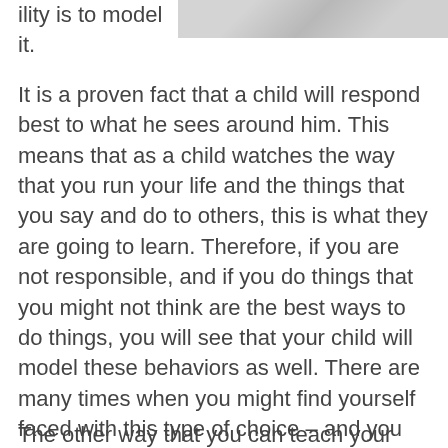[Figure (photo): Partial image strip at top right of page, showing a textured grey/white surface]
ility is to model it.
It is a proven fact that a child will respond best to what he sees around him. This means that as a child watches the way that you run your life and the things that you say and do to others, this is what they are going to learn. Therefore, if you are not responsible, and if you do things that you might not think are the best ways to do things, you will see that your child will model these behaviors as well. There are many times when you might find yourself faced with this type of choice – and you should know that the best way for you to get children to be responsible is to show them what it means to be responsible.
The other way that you can teach your